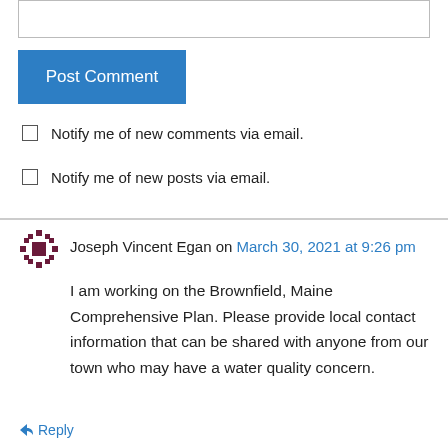[input field]
Post Comment
Notify me of new comments via email.
Notify me of new posts via email.
Joseph Vincent Egan on March 30, 2021 at 9:26 pm
I am working on the Brownfield, Maine Comprehensive Plan. Please provide local contact information that can be shared with anyone from our town who may have a water quality concern.
Reply